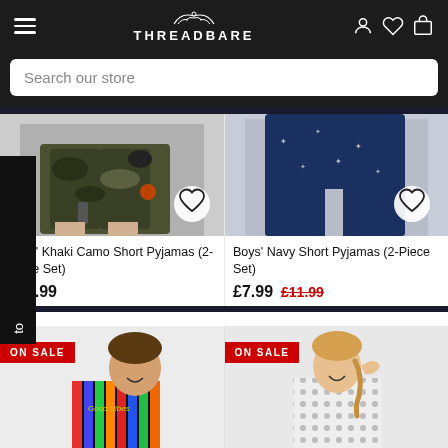THREADBARE
Search our store
[Figure (screenshot): Boys' Khaki Camo Short Pyjamas product image showing camouflage shorts, with wishlist heart icon]
Boys' Khaki Camo Short Pyjamas (2-Piece Set)
£11.99
[Figure (screenshot): Boys' Navy Short Pyjamas product image showing navy blue shorts with print, with wishlist heart icon]
Boys' Navy Short Pyjamas (2-Piece Set)
£7.99  £11.99
[Figure (screenshot): Boy wearing colourful striped t-shirt, ON SALE badge]
[Figure (screenshot): Girl wearing patterned outfit, ON SALE badge]